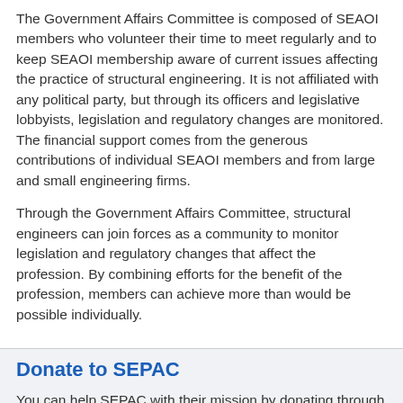The Government Affairs Committee is composed of SEAOI members who volunteer their time to meet regularly and to keep SEAOI membership aware of current issues affecting the practice of structural engineering. It is not affiliated with any political party, but through its officers and legislative lobbyists, legislation and regulatory changes are monitored. The financial support comes from the generous contributions of individual SEAOI members and from large and small engineering firms.
Through the Government Affairs Committee, structural engineers can join forces as a community to monitor legislation and regulatory changes that affect the profession. By combining efforts for the benefit of the profession, members can achieve more than would be possible individually.
Donate to SEPAC
You can help SEPAC with their mission by donating through SEAOI. Visit the SEAOI SEPAC Donation page to make your donation today.